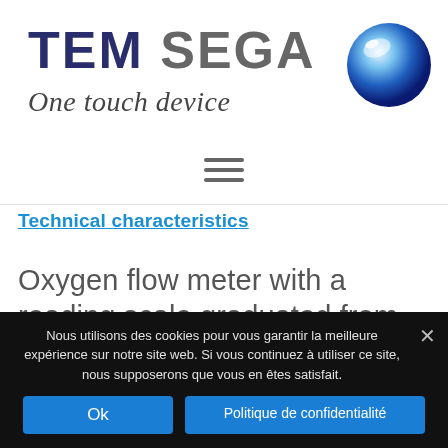[Figure (logo): TEM SEGA One touch device logo with a blue globe icon on the right]
[Figure (other): Hamburger menu icon (three horizontal lines)]
Technical characteristics
Oxygen flow meter with a reading scale graduated from 0.2 to 4 L / min.
Nous utilisons des cookies pour vous garantir la meilleure expérience sur notre site web. Si vous continuez à utiliser ce site, nous supposerons que vous en êtes satisfait.
Ok
Politique de confidentialité